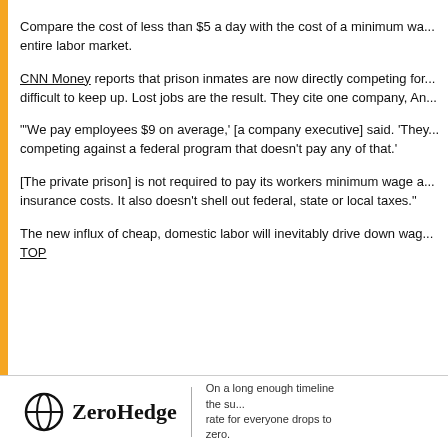Compare the cost of less than $5 a day with the cost of a minimum wa... entire labor market.
CNN Money reports that prison inmates are now directly competing for... difficult to keep up. Lost jobs are the result. They cite one company, An...
"'We pay employees $9 on average,' [a company executive] said. 'They... competing against a federal program that doesn't pay any of that.'
[The private prison] is not required to pay its workers minimum wage a... insurance costs. It also doesn't shell out federal, state or local taxes."
The new influx of cheap, domestic labor will inevitably drive down wag... TOP
[Figure (logo): ZeroHedge logo with tagline: On a long enough timeline the survival rate for everyone drops to zero.]